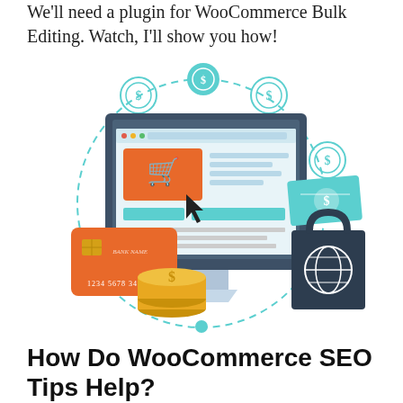We'll need a plugin for WooCommerce Bulk Editing. Watch, I'll show you how!
[Figure (illustration): E-commerce illustration showing a desktop computer monitor with a shopping cart on screen, surrounded by a credit card, stacked gold coins, a shopping bag with globe icon, paper currency with dollar sign, and floating dollar coin icons connected by a dashed circle.]
How Do WooCommerce SEO Tips Help?